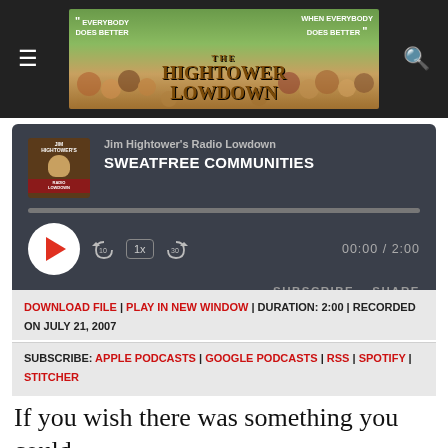[Figure (illustration): The Hightower Lowdown banner with crowd illustration, text 'EVERYBODY DOES BETTER WHEN EVERYBODY DOES BETTER' and site title 'THE HIGHTOWER LOWDOWN']
[Figure (screenshot): Audio player card for Jim Hightower's Radio Lowdown, episode SWEATFREE COMMUNITIES, showing play button, progress bar, time 00:00 / 2:00, SUBSCRIBE and SHARE buttons]
DOWNLOAD FILE | PLAY IN NEW WINDOW | DURATION: 2:00 | RECORDED ON JULY 21, 2007
SUBSCRIBE: APPLE PODCASTS | GOOGLE PODCASTS | RSS | SPOTIFY | STITCHER
If you wish there was something you could